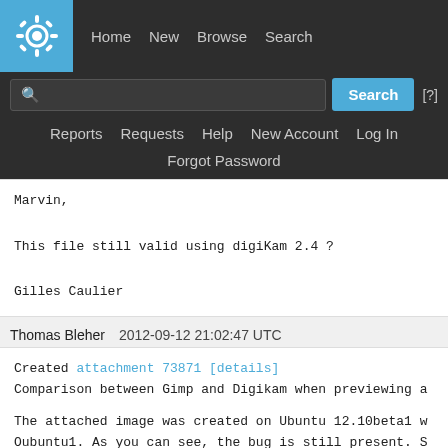[Figure (screenshot): KDE Bugtracker navigation bar with logo, search bar, and navigation links: Home, New, Browse, Search, Reports, Requests, Help, New Account, Log In, Forgot Password]
Marvin,

This file still valid using digiKam 2.4 ?

Gilles Caulier
Thomas Bleher   2012-09-12 21:02:47 UTC
Created attachment 73871 [details]
Comparison between Gimp and Digikam when previewing a

The attached image was created on Ubuntu 12.10beta1 w
Oubuntu1. As you can see, the bug is still present. S
shows the image at the correct size, but the image qu
the setting as described in the bug report fixes the
an important usability concern. I didn't find the opt